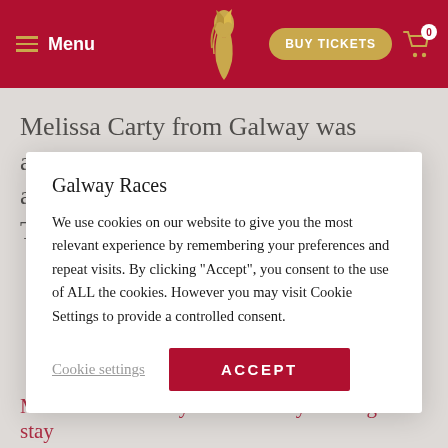Menu | Galway Races | BUY TICKETS | 0
Melissa Carty from Galway was awarded the prestigious Best Hat accolade during today’s competition. Turning heads in her bespoke
Galway Races
We use cookies on our website to give you the most relevant experience by remembering your preferences and repeat visits. By clicking “Accept”, you consent to the use of ALL the cookies. However you may visit Cookie Settings to provide a controlled consent.
Cookie settings  ACCEPT
Melissa walks away with a luxury two-night stay